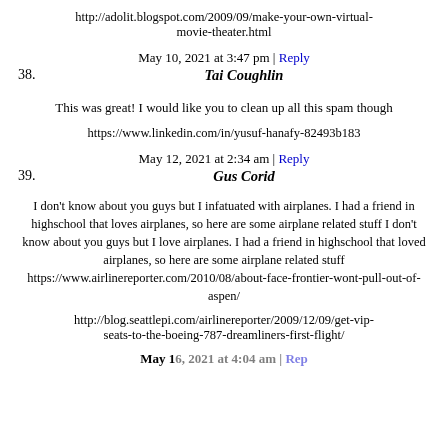http://adolit.blogspot.com/2009/09/make-your-own-virtual-movie-theater.html
May 10, 2021 at 3:47 pm | Reply
38.   Tai Coughlin
This was great! I would like you to clean up all this spam though
https://www.linkedin.com/in/yusuf-hanafy-82493b183
May 12, 2021 at 2:34 am | Reply
39.   Gus Corid
I don't know about you guys but I infatuated with airplanes. I had a friend in highschool that loves airplanes, so here are some airplane related stuff I don't know about you guys but I love airplanes. I had a friend in highschool that loved airplanes, so here are some airplane related stuff https://www.airlinereporter.com/2010/08/about-face-frontier-wont-pull-out-of-aspen/
http://blog.seattlepi.com/airlinereporter/2009/12/09/get-vip-seats-to-the-boeing-787-dreamliners-first-flight/